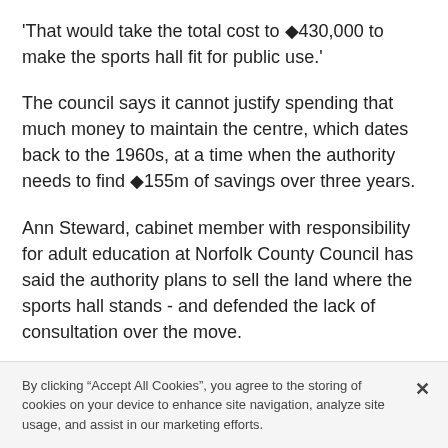'That would take the total cost to ◆430,000 to make the sports hall fit for public use.'
The council says it cannot justify spending that much money to maintain the centre, which dates back to the 1960s, at a time when the authority needs to find ◆155m of savings over three years.
Ann Steward, cabinet member with responsibility for adult education at Norfolk County Council has said the authority plans to sell the land where the sports hall stands - and defended the lack of consultation over the move.
She said: 'There simply isn't the money to do the
By clicking "Accept All Cookies", you agree to the storing of cookies on your device to enhance site navigation, analyze site usage, and assist in our marketing efforts.